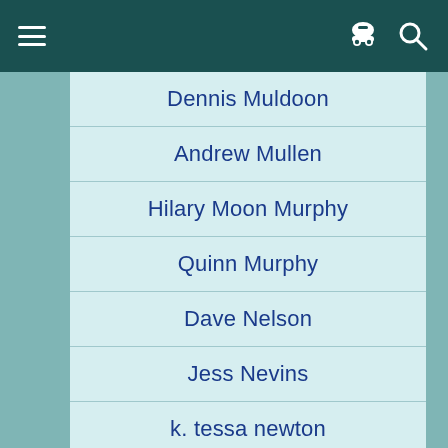App navigation bar with menu, incognito, and search icons
Dennis Muldoon
Andrew Mullen
Hilary Moon Murphy
Quinn Murphy
Dave Nelson
Jess Nevins
k. tessa newton
Adrian Ng
Kalervo Oikarinen